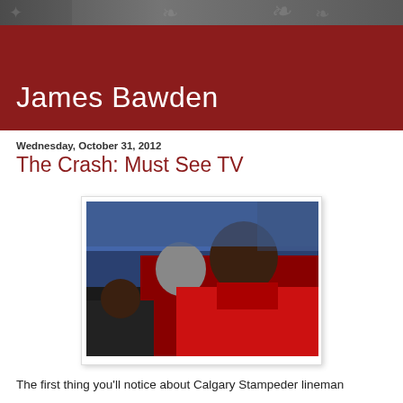James Bawden
Wednesday, October 31, 2012
The Crash: Must See TV
[Figure (photo): A Calgary Stampeder lineman in red jersey and football helmet/pads standing on the sideline, with other players and a stadium interior visible in the background.]
The first thing you'll notice about Calgary Stampeder lineman